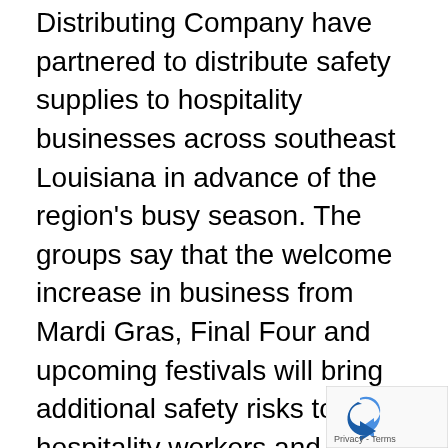Distributing Company have partnered to distribute safety supplies to hospitality businesses across southeast Louisiana in advance of the region's busy season. The groups say that the welcome increase in business from Mardi Gras, Final Four and upcoming festivals will bring additional safety risks to hospitality workers and their guests.
Fill the Needs and its partners sent trucks full of donated safety supplies — including disposable gloves, bleach wipes, hand sanitizer and industrial cleaning supplies — to southeast Louisiana.
“The hospitality industry always answers the call to help when asked, whether it is in response to disasters, emergencies, hurricanes or nonprofit requests,” said Amy Sins, founder of Fill the N… “This community outreach was one simple way we…
[Figure (other): reCAPTCHA badge with Privacy - Terms text in bottom right corner]